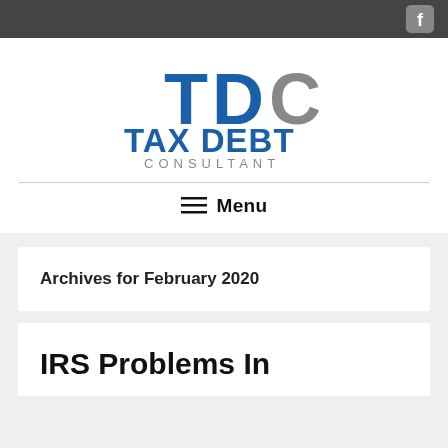[Figure (logo): TDC Tax Debt Consultant logo with blue and grey lettering]
Menu
Archives for February 2020
IRS Problems In